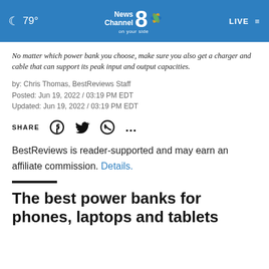79° News Channel 8 on your side LIVE
No matter which power bank you choose, make sure you also get a charger and cable that can support its peak input and output capacities.
by: Chris Thomas, BestReviews Staff
Posted: Jun 19, 2022 / 03:19 PM EDT
Updated: Jun 19, 2022 / 03:19 PM EDT
SHARE
BestReviews is reader-supported and may earn an affiliate commission. Details.
The best power banks for phones, laptops and tablets